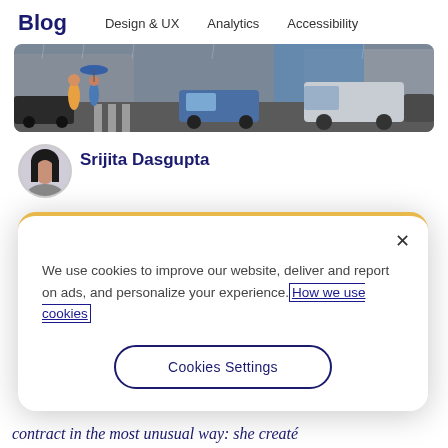Blog  Design & UX  Analytics  Accessibility
[Figure (photo): Street scene photograph showing cars and pedestrians in a rainy urban setting with buildings in background]
Srijita Dasgupta
[Figure (photo): Circular avatar photo of a woman with dark hair]
We use cookies to improve our website, deliver and report on ads, and personalize your experience. How we use cookies
Cookies Settings
contract in the most unusual way: she created